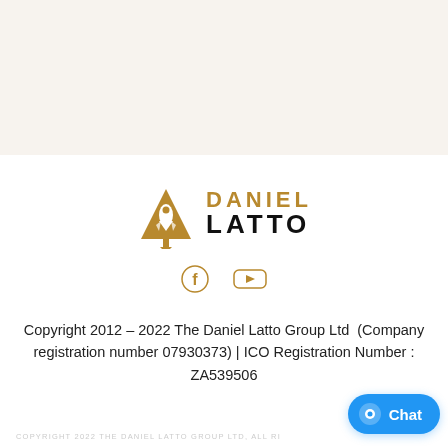[Figure (logo): Daniel Latto brand logo with golden rocket-in-triangle icon and text DANIEL LATTO]
[Figure (other): Social media icons: Facebook (f) and YouTube (play button) in golden color]
Copyright 2012 – 2022 The Daniel Latto Group Ltd  (Company registration number 07930373) | ICO Registration Number : ZA539506
COPYRIGHT 2022 THE DANIEL LATTO GROUP LTD, ALL RI...
[Figure (other): Chat button widget (blue rounded pill with chat bubble icon and text 'Chat')]